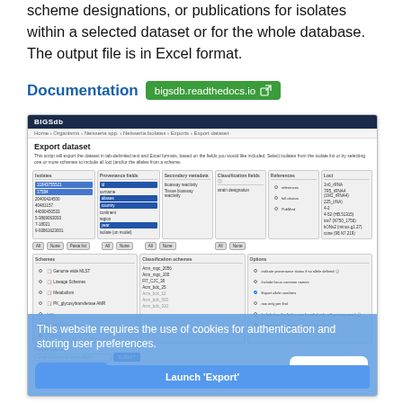scheme designations, or publications for isolates within a selected dataset or for the whole database. The output file is in Excel format.
Documentation  bigsdb.readthedocs.io
[Figure (screenshot): BIGSdb Export dataset interface screenshot showing isolate selection fields, provenance fields, secondary metadata, classification fields, references, loci, schemes, options panels, and a cookie consent overlay with 'Got it!' button and 'Launch Export' button]
This website requires the use of cookies for authentication and storing user preferences.
Got it!
Learn more
Launch 'Export'